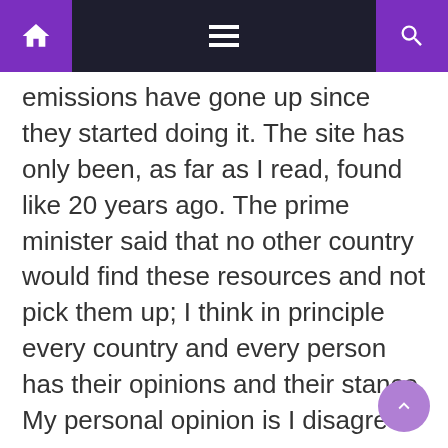[navigation bar with home, menu, and search icons]
emissions have gone up since they started doing it. The site has only been, as far as I read, found like 20 years ago. The prime minister said that no other country would find these resources and not pick them up; I think in principle every country and every person has their opinions and their stance. My personal opinion is I disagree.”
Source: Read Full Article